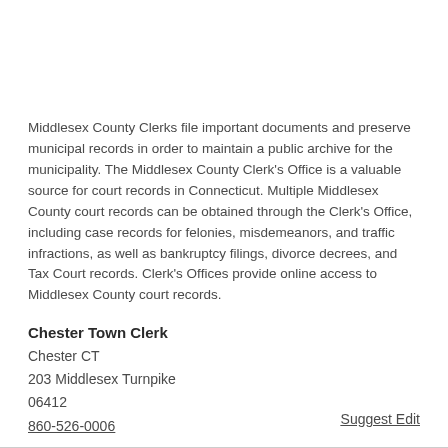Middlesex County Clerks file important documents and preserve municipal records in order to maintain a public archive for the municipality. The Middlesex County Clerk's Office is a valuable source for court records in Connecticut. Multiple Middlesex County court records can be obtained through the Clerk's Office, including case records for felonies, misdemeanors, and traffic infractions, as well as bankruptcy filings, divorce decrees, and Tax Court records. Clerk's Offices provide online access to Middlesex County court records.
Chester Town Clerk
Chester CT
203 Middlesex Turnpike
06412
860-526-0006
Suggest Edit